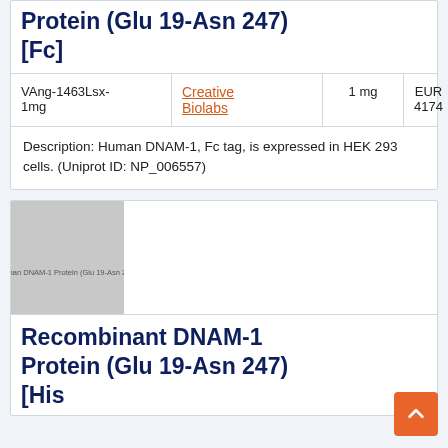Protein (Glu 19-Asn 247) [Fc]
| Cat# | Supplier | Size | Price |
| --- | --- | --- | --- |
| VAng-1463Lsx-1mg | Creative Biolabs | 1 mg | EUR 4174 |
Description: Human DNAM-1, Fc tag, is expressed in HEK 293 cells. (Uniprot ID: NP_006557)
[Figure (photo): Product thumbnail image showing placeholder for DNAM-1 Protein (Glu 19-Asn 247)]
Recombinant DNAM-1 Protein (Glu 19-Asn 247) [His]